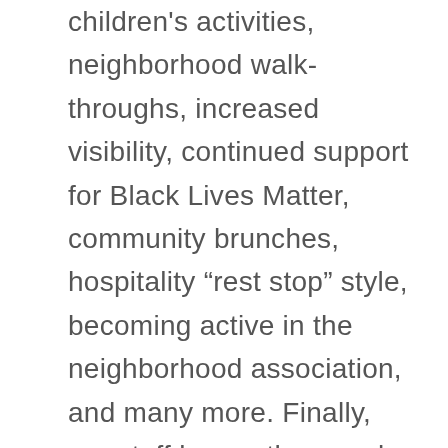children's activities, neighborhood walk-throughs, increased visibility, continued support for Black Lives Matter, community brunches, hospitality “rest stop” style, becoming active in the neighborhood association, and many more. Finally, our staff began the year by setting goals for 2021. I continue to be amazed at the incredible team of people working on your behalf, and they have big plans for this year. Almost all of them named preparing the space (the office, the music room, the nursery, the children’s classroom) for life together again. We will be clearing out some accumulated “stuff” in the next couple of weeks and preparing to begin